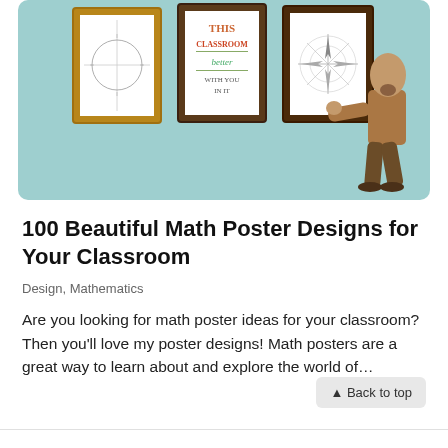[Figure (photo): A man in brown clothing hanging or adjusting a framed math poster on a light teal/blue wall. Three framed posters are visible on the wall: one with a coordinate plane/circle, one with decorative text reading 'THIS CLASSROOM better IN IT', and one with a geometric/star diagram.]
100 Beautiful Math Poster Designs for Your Classroom
Design, Mathematics
Are you looking for math poster ideas for your classroom? Then you'll love my poster designs! Math posters are a great way to learn about and explore the world of…
▲ Back to top